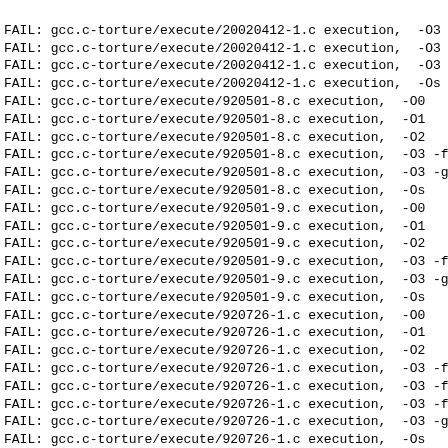FAIL: gcc.c-torture/execute/20020412-1.c execution,  -03
FAIL: gcc.c-torture/execute/20020412-1.c execution,  -03
FAIL: gcc.c-torture/execute/20020412-1.c execution,  -03
FAIL: gcc.c-torture/execute/20020412-1.c execution,  -Os
FAIL: gcc.c-torture/execute/920501-8.c execution,  -O0
FAIL: gcc.c-torture/execute/920501-8.c execution,  -O1
FAIL: gcc.c-torture/execute/920501-8.c execution,  -O2
FAIL: gcc.c-torture/execute/920501-8.c execution,  -O3 -f
FAIL: gcc.c-torture/execute/920501-8.c execution,  -O3 -g
FAIL: gcc.c-torture/execute/920501-8.c execution,  -Os
FAIL: gcc.c-torture/execute/920501-9.c execution,  -O0
FAIL: gcc.c-torture/execute/920501-9.c execution,  -O1
FAIL: gcc.c-torture/execute/920501-9.c execution,  -O2
FAIL: gcc.c-torture/execute/920501-9.c execution,  -O3 -f
FAIL: gcc.c-torture/execute/920501-9.c execution,  -O3 -g
FAIL: gcc.c-torture/execute/920501-9.c execution,  -Os
FAIL: gcc.c-torture/execute/920726-1.c execution,  -O0
FAIL: gcc.c-torture/execute/920726-1.c execution,  -O1
FAIL: gcc.c-torture/execute/920726-1.c execution,  -O2
FAIL: gcc.c-torture/execute/920726-1.c execution,  -O3 -f
FAIL: gcc.c-torture/execute/920726-1.c execution,  -O3 -f
FAIL: gcc.c-torture/execute/920726-1.c execution,  -O3 -f
FAIL: gcc.c-torture/execute/920726-1.c execution,  -O3 -g
FAIL: gcc.c-torture/execute/920726-1.c execution,  -Os
FAIL: gcc.c-torture/execute/930513-1.c execution,  -O0
FAIL: gcc.c-torture/execute/930513-1.c execution,  -O1
FAIL: gcc.c-torture/execute/930513-1.c execution,  -O2
FAIL: gcc.c-torture/execute/930513-1.c execution,  -O3 -f
FAIL: gcc.c-torture/execute/930513-1.c execution,  -O3 -g
FAIL: gcc.c-torture/execute/930513-1.c execution,  -Os